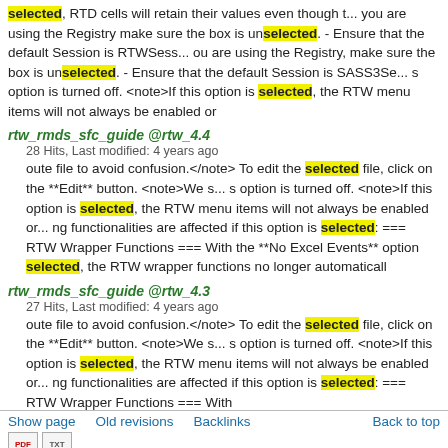selected, RTD cells will retain their values even though t... you are using the Registry make sure the box is unselected. - Ensure that the default Session is RTWSess... ou are using the Registry, make sure the box is unselected. - Ensure that the default Session is SASS3Se... s option is turned off. <note>If this option is selected, the RTW menu items will not always be enabled or
rtw_rmds_sfc_guide @rtw_4.4
28 Hits, Last modified: 4 years ago
oute file to avoid confusion.</note> To edit the selected file, click on the **Edit** button. <note>We s... s option is turned off. <note>If this option is selected, the RTW menu items will not always be enabled or... ng functionalities are affected if this option is selected: === RTW Wrapper Functions === With the **No Excel Events** option selected, the RTW wrapper functions no longer automaticall
rtw_rmds_sfc_guide @rtw_4.3
27 Hits, Last modified: 4 years ago
oute file to avoid confusion.</note> To edit the selected file, click on the **Edit** button. <note>We s... s option is turned off. <note>If this option is selected, the RTW menu items will not always be enabled or... ng functionalities are affected if this option is selected: === RTW Wrapper Functions === With
Show page   Old revisions   Backlinks   Back to top